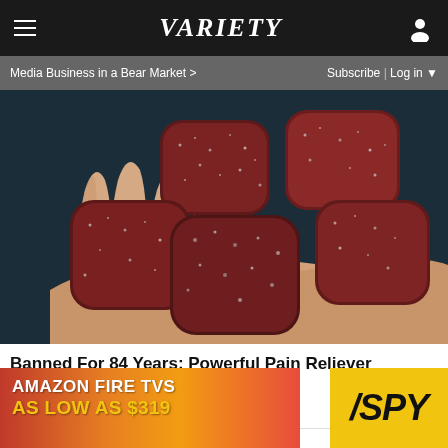Variety
Media Business in a Bear Market > | Subscribe | Log in
[Figure (photo): A hand holding several dark red sugar-coated gummy candies against a dark background]
Banned For 84 Years; Powerful Pain Reliever Legalized In Virginia
HEALTH HEADLINES
[Figure (infographic): Amazon Fire TVs advertisement: 'AMAZON FIRE TVS AS LOW AS $319' with SPY logo on yellow background]